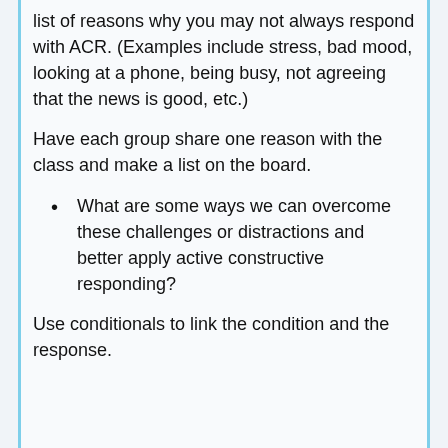list of reasons why you may not always respond with ACR. (Examples include stress, bad mood, looking at a phone, being busy, not agreeing that the news is good, etc.)
Have each group share one reason with the class and make a list on the board.
What are some ways we can overcome these challenges or distractions and better apply active constructive responding?
Use conditionals to link the condition and the response.